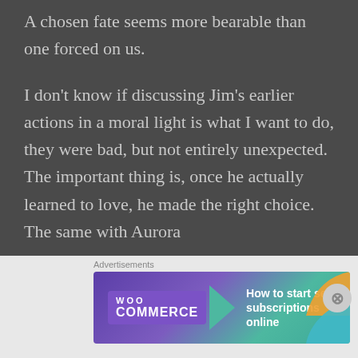A chosen fate seems more bearable than one forced on us.
I don't know if discussing Jim's earlier actions in a moral light is what I want to do, they were bad, but not entirely unexpected. The important thing is, once he actually learned to love, he made the right choice. The same with Aurora
[Figure (screenshot): WooCommerce advertisement banner: 'How to start selling subscriptions online' with teal arrow graphic and decorative swooshes]
Advertisements